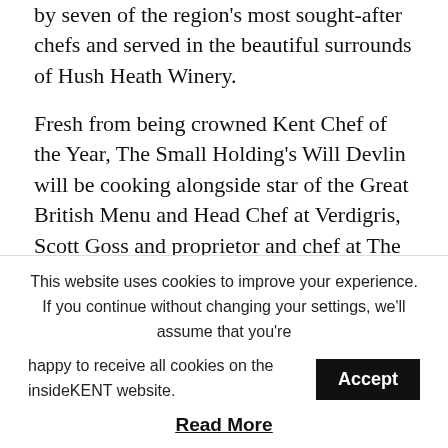by seven of the region's most sought-after chefs and served in the beautiful surrounds of Hush Heath Winery.
Fresh from being crowned Kent Chef of the Year, The Small Holding's Will Devlin will be cooking alongside star of the Great British Menu and Head Chef at Verdigris, Scott Goss and proprietor and chef at The Compasses Inn, Crundale Robert Taylor. Former Kentish Hare and MasterChef the professional's personality, Bobby Brown, chef-proprietor of The Michelin listed Wheelwrights Arms in Matfield for 6 years, Rob Marsh and Hush Heath's Executive Chef,
This website uses cookies to improve your experience. If you continue without changing your settings, we'll assume that you're happy to receive all cookies on the insideKENT website.
Accept
Read More